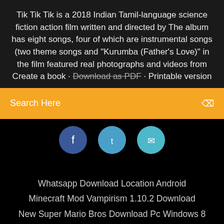Tik Tik Tik is a 2018 Indian Tamil-language science fiction action film written and directed by The album has eight songs, four of which are instrumental songs (two theme songs and "Kurumba (Father's Love)" in the film featured real photographs and videos from Create a book · Download as PDF · Printable version
Search Here
[Figure (screenshot): Three circular social share buttons (Facebook blue, Twitter light blue, WhatsApp cyan) on black background]
Whatsapp Download Location Android
Minecraft Mod Vampirism 1.10.2 Download
New Super Mario Bros Download Pc Windows 8
How To Download Filelinked On Pc Without Apk